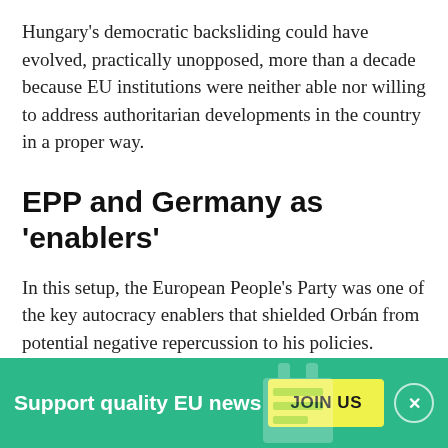Hungary's democratic backsliding could have evolved, practically unopposed, more than a decade because EU institutions were neither able nor willing to address authoritarian developments in the country in a proper way.
EPP and Germany as 'enablers'
In this setup, the European People's Party was one of the key autocracy enablers that shielded Orbán from potential negative repercussion to his policies. However, it was far from being the only one.
Aside from the EPP, Hungary was also protected at a
[Figure (infographic): Green banner at the bottom of the page with text 'Support quality EU news', a yellow 'JOIN US' button, and a circular close button with an X.]